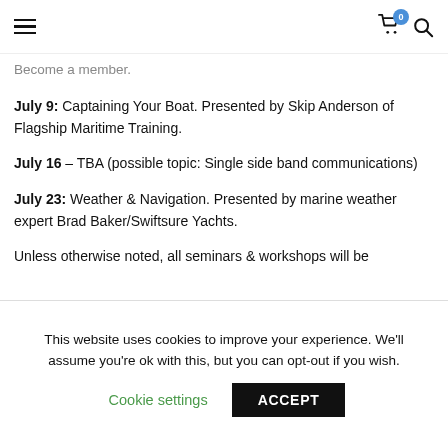Navigation bar with hamburger menu, cart icon (0 items), and search icon
Become a member.
July 9: Captaining Your Boat. Presented by Skip Anderson of Flagship Maritime Training.
July 16 – TBA (possible topic: Single side band communications)
July 23: Weather & Navigation. Presented by marine weather expert Brad Baker/Swiftsure Yachts.
Unless otherwise noted, all seminars & workshops will be
This website uses cookies to improve your experience. We'll assume you're ok with this, but you can opt-out if you wish.
Cookie settings  ACCEPT